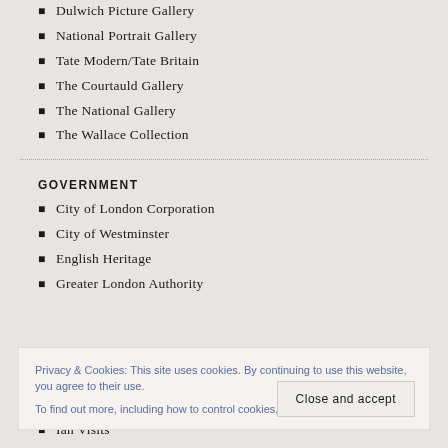Dulwich Picture Gallery
National Portrait Gallery
Tate Modern/Tate Britain
The Courtauld Gallery
The National Gallery
The Wallace Collection
GOVERNMENT
City of London Corporation
City of Westminster
English Heritage
Greater London Authority
Privacy & Cookies: This site uses cookies. By continuing to use this website, you agree to their use. To find out more, including how to control cookies, see here: Cookie Policy
Close and accept
Ian Visits